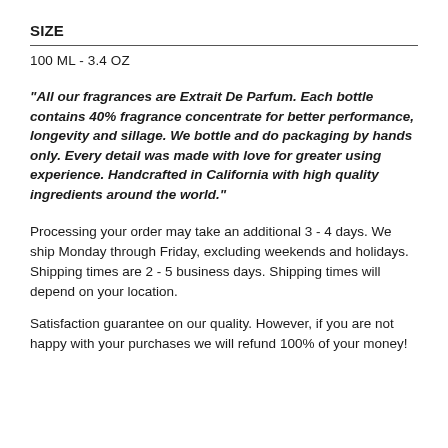SIZE
100 ML - 3.4 OZ
"All our fragrances are Extrait De Parfum. Each bottle contains 40% fragrance concentrate for better performance, longevity and sillage. We bottle and do packaging by hands only. Every detail was made with love for greater using experience. Handcrafted in California with high quality ingredients around the world."
Processing your order may take an additional 3 - 4 days. We ship Monday through Friday, excluding weekends and holidays. Shipping times are 2 - 5 business days. Shipping times will depend on your location.
Satisfaction guarantee on our quality. However, if you are not happy with your purchases we will refund 100% of your money!